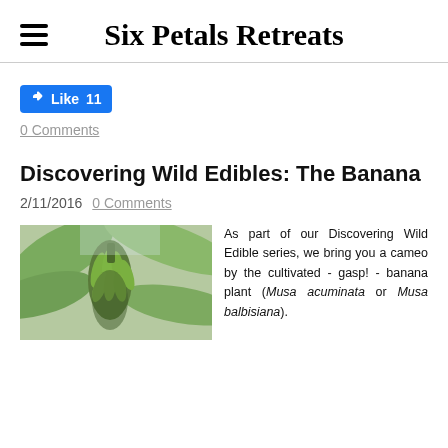Six Petals Retreats
[Figure (other): Facebook Like button showing 11 likes]
0 Comments
Discovering Wild Edibles: The Banana
2/11/2016   0 Comments
[Figure (photo): Photo of green banana plant with bunches of unripe bananas and large tropical leaves]
As part of our Discovering Wild Edible series, we bring you a cameo by the cultivated - gasp! - banana plant (Musa acuminata or Musa balbisiana).